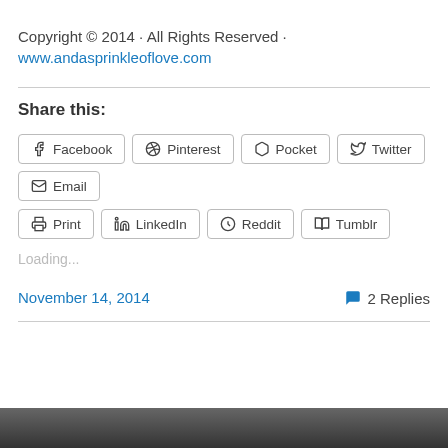Copyright © 2014 · All Rights Reserved ·
www.andasprinkleoflove.com
Share this:
Facebook  Pinterest  Pocket  Twitter  Email  Print  LinkedIn  Reddit  Tumblr
Loading...
November 14, 2014
2 Replies
[Figure (photo): Partial bottom image, dark background, barely visible]